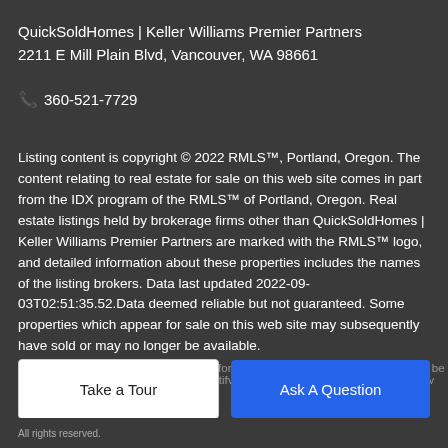QuickSoldHomes | Keller Williams Premier Partners
2211 E Mill Plain Blvd, Vancouver, WA 98661
📞 360-521-7729
Listing content is copyright © 2022 RMLS™, Portland, Oregon. The content relating to real estate for sale on this web site comes in part from the IDX program of the RMLS™ of Portland, Oregon. Real estate listings held by brokerage firms other than QuickSoldHomes | Keller Williams Premier Partners are marked with the RMLS™ logo, and detailed information about these properties includes the names of the listing brokers. Data last updated 2022-09-03T02:51:35.52.Data deemed reliable but not guaranteed. Some properties which appear for sale on this web site may subsequently have sold or may no longer be available.
IDX information is provided exclusively for consumers' personal...
Take a Tour
Ask A Question